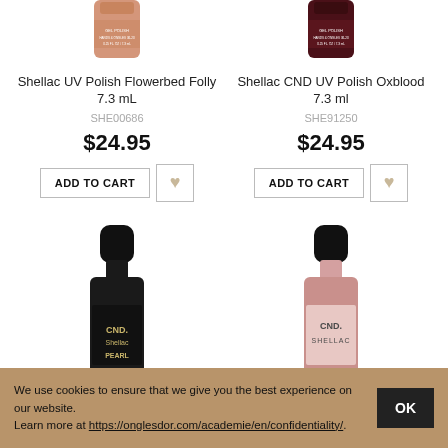[Figure (photo): Shellac UV Polish Flowerbed Folly bottle (nude/pink, partial top view)]
[Figure (photo): Shellac CND UV Polish Oxblood bottle (dark red/burgundy, partial top view)]
Shellac UV Polish Flowerbed Folly 7.3 mL
SHE00686
$24.95
Shellac CND UV Polish Oxblood 7.3 ml
SHE91250
$24.95
[Figure (photo): CND Shellac Pearl nail polish bottle (black bottle with black cap)]
[Figure (photo): CND Shellac nail polish bottle (pink/mauve color with black cap)]
We use cookies to ensure that we give you the best experience on our website.
Learn more at https://onglesdor.com/academie/en/confidentiality/.